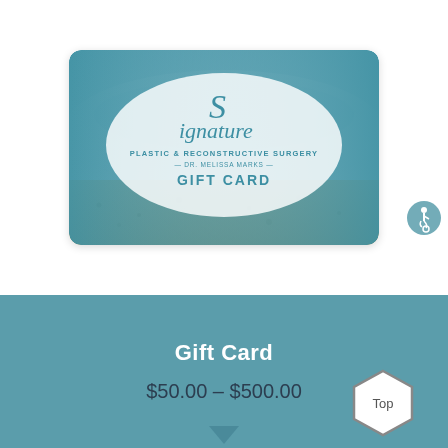[Figure (illustration): Signature Plastic & Reconstructive Surgery - Dr. Melissa Marks Gift Card. A credit-card shaped image with a beach background (sandy beach and teal ocean water) and the practice logo in teal script letters with subtitle text and GIFT CARD label.]
Gift Card
$50.00 – $500.00